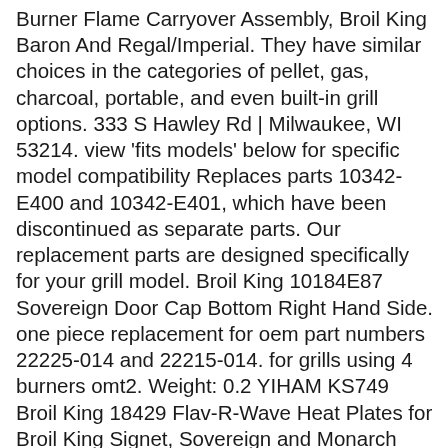Burner Flame Carryover Assembly, Broil King Baron And Regal/Imperial. They have similar choices in the categories of pellet, gas, charcoal, portable, and even built-in grill options. 333 S Hawley Rd | Milwaukee, WI 53214. view 'fits models' below for specific model compatibility Replaces parts 10342-E400 and 10342-E401, which have been discontinued as separate parts. Our replacement parts are designed specifically for your grill model. Broil King 10184E87 Sovereign Door Cap Bottom Right Hand Side. one piece replacement for oem part numbers 22225-014 and 22215-014. for grills using 4 burners omt2. Weight: 0.2 YIHAM KS749 Broil King 18429 Flav-R-Wave Heat Plates for Broil King Signet, Sovereign and Monarch Gas Grill Models, 13 3/4 inch x 6 1/4 inch, Stainless Steel, Set of 3 3.9 out of 5 stars 16 $29.99 All orders ship from Canada to Canada. Stainless steel collector box assembly which includes 10342-E400 and 10342-E401 for the Broil King Signet and Sovereign series of gas grills. $5.99 Broil King 10184E77 Door Cap Bottom Right Hand Side. BBQ CLASSIC PARTS Broil King Collector Box Assembly 28" X 1 1/2" BCB22226-014A OEM: